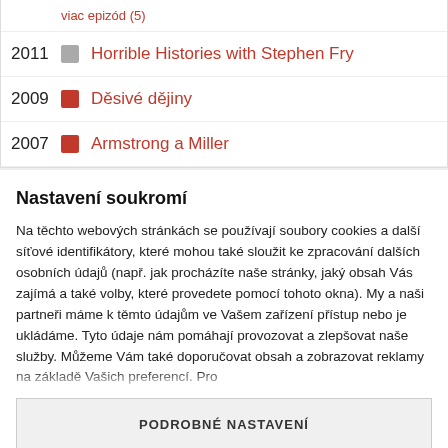viac epizód (5)
2011  Horrible Histories with Stephen Fry
2009  Děsivé dějiny
2007  Armstrong a Miller
Nastavení soukromí
Na těchto webových stránkách se používají soubory cookies a další síťové identifikátory, které mohou také sloužit ke zpracování dalších osobních údajů (např. jak procházíte naše stránky, jaký obsah Vás zajímá a také volby, které provedete pomocí tohoto okna). My a naši partneři máme k těmto údajům ve Vašem zařízení přístup nebo je ukládáme. Tyto údaje nám pomáhají provozovat a zlepšovat naše služby. Můžeme Vám také doporučovat obsah a zobrazovat reklamy na základě Vašich preferencí. Pro
PODROBNÉ NASTAVENÍ
ROZUMÍM A PŘIJÍMÁM